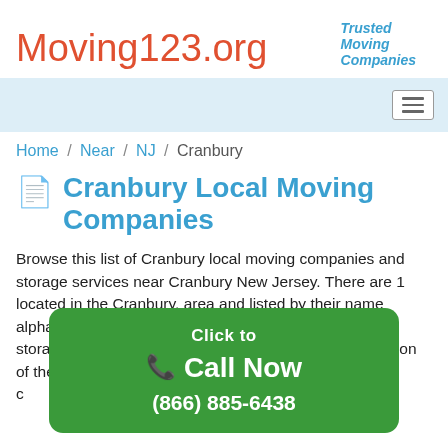Trusted Moving Companies
Moving123.org
Home / Near / NJ / Cranbury
Cranbury Local Moving Companies
Browse this list of Cranbury local moving companies and storage services near Cranbury New Jersey. There are 1 located in the Cranbury, area and listed by their name alphabetically. Find a Moving Professional, packer or storage near you from the list be… mation of the loc… s offered, c…
[Figure (infographic): Green rounded rectangle CTA overlay: 'Click to Call Now (866) 885-6438' with phone icon]
Call us to… x the